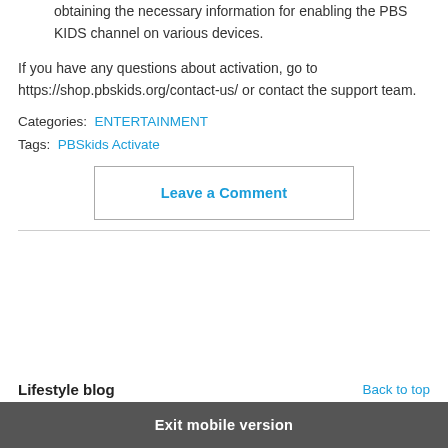obtaining the necessary information for enabling the PBS KIDS channel on various devices.
If you have any questions about activation, go to https://shop.pbskids.org/contact-us/ or contact the support team.
Categories: ENTERTAINMENT
Tags: PBSkids Activate
Leave a Comment
Lifestyle blog
Back to top
Exit mobile version